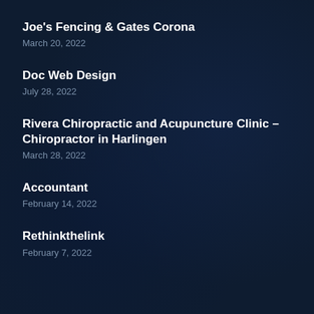Joe's Fencing & Gates Corona
March 20, 2022
Doc Web Design
July 28, 2022
Rivera Chiropractic and Acupuncture Clinic – Chiropractor in Harlingen
March 28, 2022
Accountant
February 14, 2022
Rethinkthelink
February 7, 2022